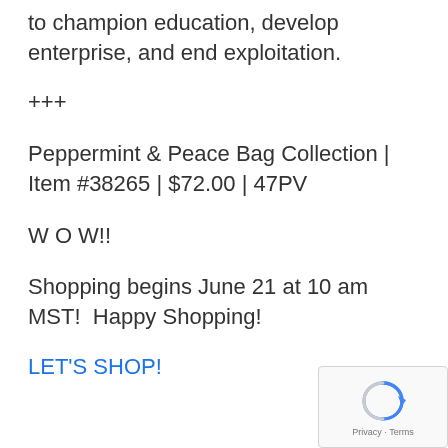to champion education, develop enterprise, and end exploitation.
+++
Peppermint & Peace Bag Collection | Item #38265 | $72.00 | 47PV
W O W!!
Shopping begins June 21 at 10 am MST!  Happy Shopping!
LET'S SHOP!